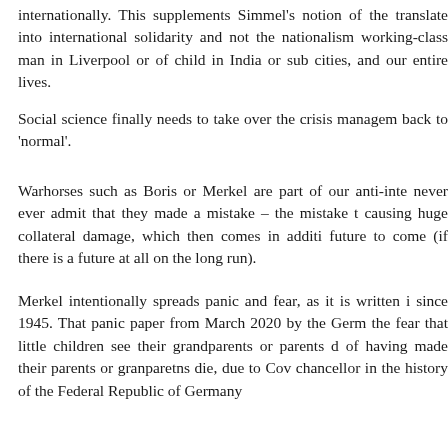internationally. This supplements Simmel's notion of the translate into international solidarity and not the nationalism working-class man in Liverpool or of child in India or sub cities, and our entire lives.
Social science finally needs to take over the crisis managem back to 'normal'.
Warhorses such as Boris or Merkel are part of our anti-inte never ever admit that they made a mistake – the mistake t causing huge collateral damage, which then comes in additi future to come (if there is a future at all on the long run).
Merkel intentionally spreads panic and fear, as it is written i since 1945. That panic paper from March 2020 by the Germ the fear that little children see their grandparents or parents d of having made their parents or granparetns die, due to Cov chancellor in the history of the Federal Republic of Germany